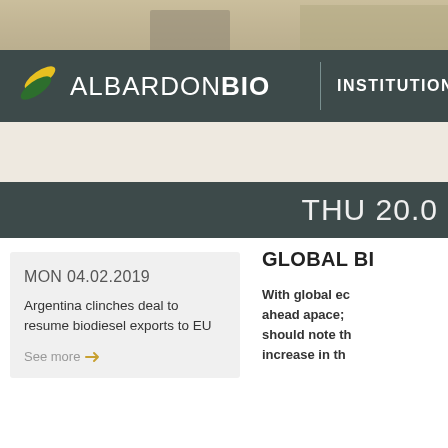[Figure (photo): Background photo of office/interior scene, neutral warm tones]
ALBARDONBIO | INSTITUTIONAL
THU 20.0
GLOBAL BI
MON 04.02.2019
Argentina clinches deal to resume biodiesel exports to EU
See more
With global ec ahead apace; should note th increase in th